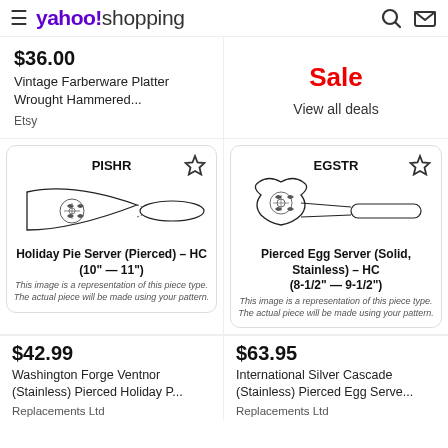yahoo! shopping
$36.00
Vintage Farberware Platter Wrought Hammered...
Etsy
Sale
View all deals
[Figure (illustration): Line drawing of a pie server labeled PISHR. Holiday Pie Server (Pierced) – HC (10" — 11"). This image is a representation of this piece type. The actual piece will be made using your pattern.]
[Figure (illustration): Line drawing of an egg server labeled EGSTR. Pierced Egg Server (Solid, Stainless) – HC (8-1/2" — 9-1/2"). This image is a representation of this piece type. The actual piece will be made using your pattern.]
$42.99
Washington Forge Ventnor (Stainless) Pierced Holiday P...
Replacements Ltd
$63.95
International Silver Cascade (Stainless) Pierced Egg Serve...
Replacements Ltd